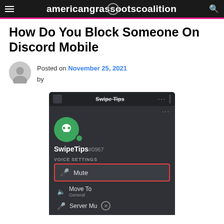americangrassrootscoalition
How Do You Block Someone On Discord Mobile
Posted on November 25, 2021 by
[Figure (screenshot): Discord mobile UI showing a user profile for SwipeTips#0967 with Voice Settings section. A red-bordered 'Mute' button is highlighted. Below are 'Move To / General' and 'Server Mu...' options.]